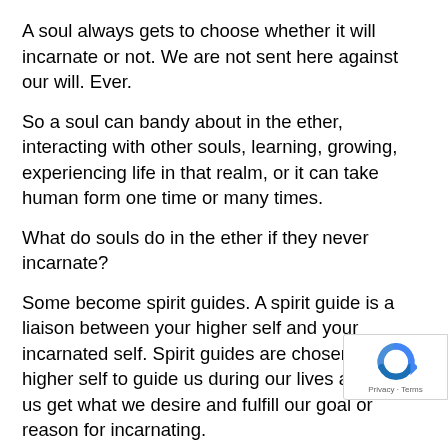A soul always gets to choose whether it will incarnate or not. We are not sent here against our will. Ever.
So a soul can bandy about in the ether, interacting with other souls, learning, growing, experiencing life in that realm, or it can take human form one time or many times.
What do souls do in the ether if they never incarnate?
Some become spirit guides. A spirit guide is a liaison between your higher self and your incarnated self. Spirit guides are chosen by the higher self to guide us during our lives and help us get what we desire and fulfill our goal or reason for incarnating.
Spirit guides can be souls that HAVE incarnated before, and are thus uniquely sympathetic to our
[Figure (logo): reCAPTCHA badge with circular arrow icon and Privacy - Terms text]